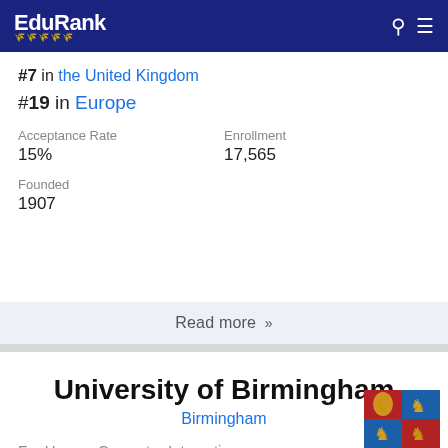EduRank
#7 in the United Kingdom
#19 in Europe
Acceptance Rate
15%
Enrollment
17,565
Founded
1907
Read more »
University of Birmingham
Birmingham
For Human-Computer Interaction